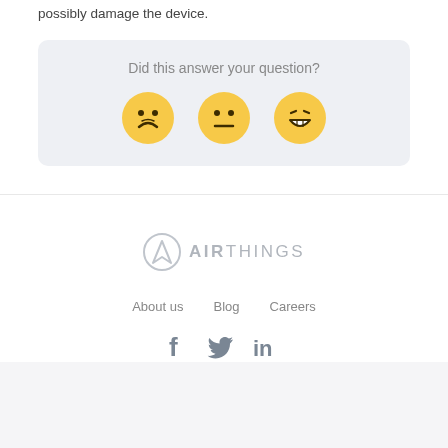possibly damage the device.
Did this answer your question?
[Figure (illustration): Three emoji faces: sad (frowning), neutral, and happy (grinning) — used as feedback buttons for a help article.]
[Figure (logo): Airthings logo — circular 'A' icon next to the text 'AIRTHINGS' in light gray.]
About us   Blog   Careers
[Figure (illustration): Social media icons: Facebook (f), Twitter (bird), LinkedIn (in) in gray.]